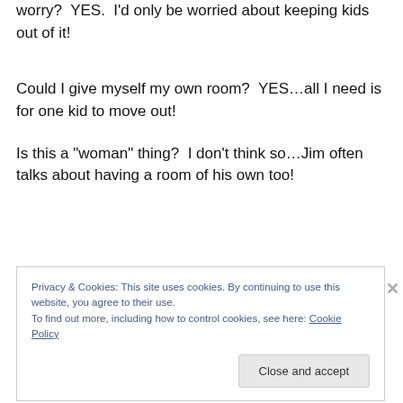worry?  YES.  I’d only be worried about keeping kids out of it!
Could I give myself my own room?  YES…all I need is for one kid to move out!
Is this a “woman” thing?  I don’t think so…Jim often talks about having a room of his own too!
Privacy & Cookies: This site uses cookies. By continuing to use this website, you agree to their use.
To find out more, including how to control cookies, see here: Cookie Policy
Close and accept